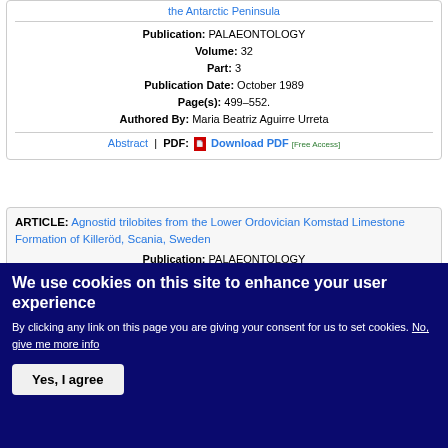the Antarctic Peninsula
Publication: PALAEONTOLOGY
Volume: 32
Part: 3
Publication Date: October 1989
Page(s): 499–552.
Authored By: Maria Beatriz Aguirre Urreta
Abstract | PDF: Download PDF [Free Access]
ARTICLE: Agnostid trilobites from the Lower Ordovician Komstad Limestone Formation of Killer&ouml;d, Scania, Sweden
Publication: PALAEONTOLOGY
We use cookies on this site to enhance your user experience
By clicking any link on this page you are giving your consent for us to set cookies. No, give me more info
Yes, I agree